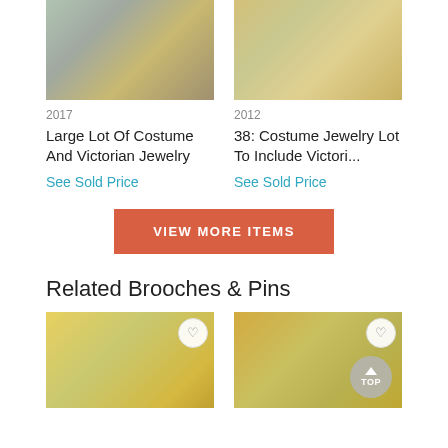[Figure (photo): Photo of a large lot of costume and Victorian jewelry in boxes, with chains and various pieces]
[Figure (photo): Photo of costume jewelry lot including rings, bangles, and chains laid out]
2017
Large Lot Of Costume And Victorian Jewelry
See Sold Price
2012
38: Costume Jewelry Lot To Include Victori...
See Sold Price
VIEW MORE ITEMS
Related Brooches & Pins
[Figure (photo): Photo of gold-toned brooches and pins including floral and bangle designs]
[Figure (photo): Photo of gold snake brooch pin and other stick pins]